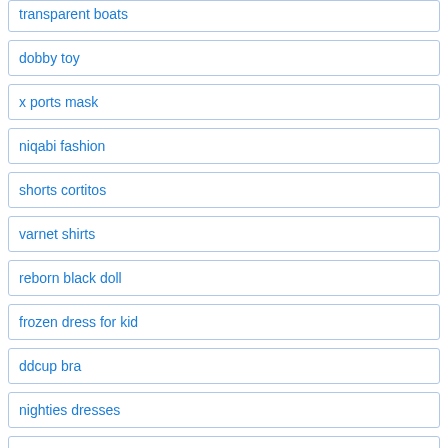transparent boats
dobby toy
x ports mask
niqabi fashion
shorts cortitos
varnet shirts
reborn black doll
frozen dress for kid
ddcup bra
nighties dresses
usa flag dresses
decoraciones para fiesta de adultos